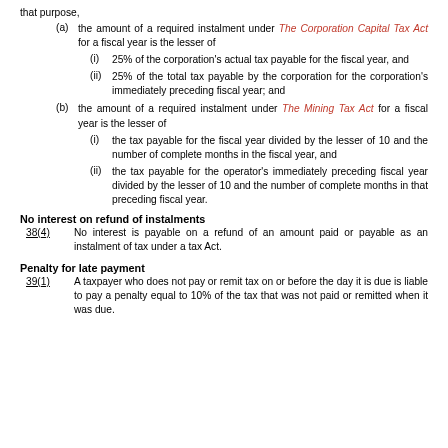that purpose,
(a) the amount of a required instalment under The Corporation Capital Tax Act for a fiscal year is the lesser of
(i) 25% of the corporation's actual tax payable for the fiscal year, and
(ii) 25% of the total tax payable by the corporation for the corporation's immediately preceding fiscal year; and
(b) the amount of a required instalment under The Mining Tax Act for a fiscal year is the lesser of
(i) the tax payable for the fiscal year divided by the lesser of 10 and the number of complete months in the fiscal year, and
(ii) the tax payable for the operator's immediately preceding fiscal year divided by the lesser of 10 and the number of complete months in that preceding fiscal year.
No interest on refund of instalments
38(4)        No interest is payable on a refund of an amount paid or payable as an instalment of tax under a tax Act.
Penalty for late payment
39(1)        A taxpayer who does not pay or remit tax on or before the day it is due is liable to pay a penalty equal to 10% of the tax that was not paid or remitted when it was due.